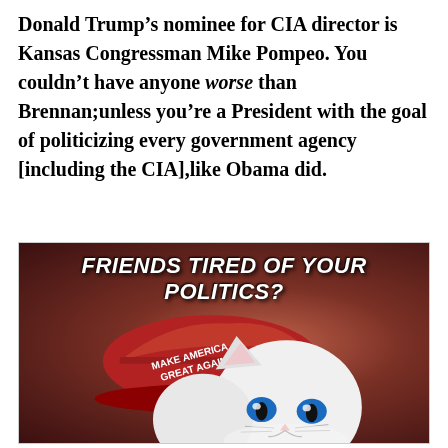Donald Trump's nominee for CIA director is Kansas Congressman Mike Pompeo. You couldn't have anyone worse than Brennan;unless you're a President with the goal of politicizing every government agency [including the CIA],like Obama did.
[Figure (photo): Meme image showing a white cat wearing a red 'Make America Great Again' cap, peeking up from bottom of frame against a reddish-brown background. White bold italic text at top reads 'FRIENDS TIRED OF YOUR POLITICS?']